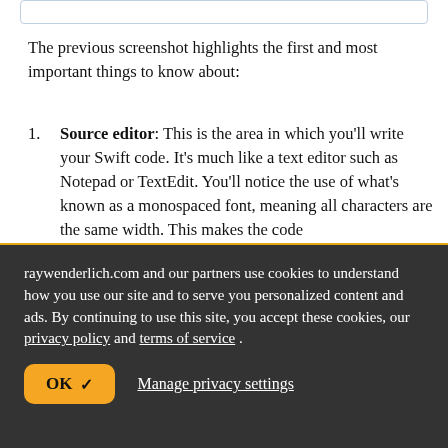[Figure (screenshot): Top portion of a screenshot with a light blue border outline visible at the top of the page]
The previous screenshot highlights the first and most important things to know about:
Source editor: This is the area in which you'll write your Swift code. It's much like a text editor such as Notepad or TextEdit. You'll notice the use of what's known as a monospaced font, meaning all characters are the same width. This makes the code
raywenderlich.com and our partners use cookies to understand how you use our site and to serve you personalized content and ads. By continuing to use this site, you accept these cookies, our privacy policy and terms of service.
OK ✓   Manage privacy settings